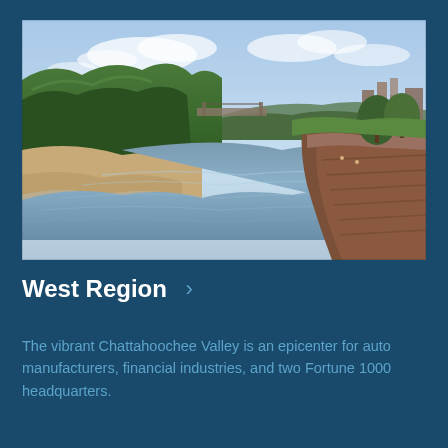[Figure (photo): Aerial view of the Chattahoochee Valley river with a riverside walkway/promenade on the right bank, trees on both sides, and a cityscape visible in the background under a blue sky with clouds.]
West Region ›
The vibrant Chattahoochee Valley is an epicenter for auto manufacturers, financial industries, and two Fortune 1000 headquarters.